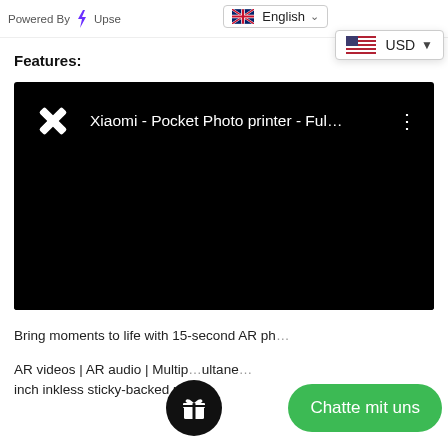Powered By Upse [English] [USD]
Features:
[Figure (screenshot): Embedded video player with black background showing Xiaomi - Pocket Photo printer - Ful... title with a logo icon and three-dot menu]
Bring moments to life with 15-second AR ph...
AR videos | AR audio | Multip...ultane... inch inkless sticky-backed ph...
Chatte mit uns
[Figure (illustration): Dark circular gift/reward button icon]